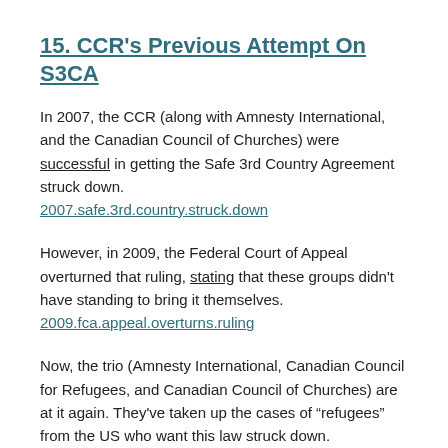15. CCR's Previous Attempt On S3CA
In 2007, the CCR (along with Amnesty International, and the Canadian Council of Churches) were successful in getting the Safe 3rd Country Agreement struck down. 2007.safe.3rd.country.struck.down
However, in 2009, the Federal Court of Appeal overturned that ruling, stating that these groups didn't have standing to bring it themselves. 2009.fca.appeal.overturns.ruling
Now, the trio (Amnesty International, Canadian Council for Refugees, and Canadian Council of Churches) are at it again. They've taken up the cases of “refugees” from the US who want this law struck down.